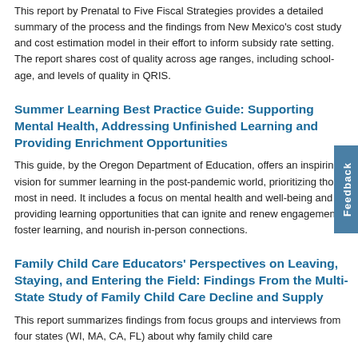This report by Prenatal to Five Fiscal Strategies provides a detailed summary of the process and the findings from New Mexico's cost study and cost estimation model in their effort to inform subsidy rate setting. The report shares cost of quality across age ranges, including school-age, and levels of quality in QRIS.
Summer Learning Best Practice Guide: Supporting Mental Health, Addressing Unfinished Learning and Providing Enrichment Opportunities
This guide, by the Oregon Department of Education, offers an inspiring vision for summer learning in the post-pandemic world, prioritizing those most in need. It includes a focus on mental health and well-being and providing learning opportunities that can ignite and renew engagement, foster learning, and nourish in-person connections.
Family Child Care Educators' Perspectives on Leaving, Staying, and Entering the Field: Findings From the Multi-State Study of Family Child Care Decline and Supply
This report summarizes findings from focus groups and interviews from four states (WI, MA, CA, FL) about why family child care